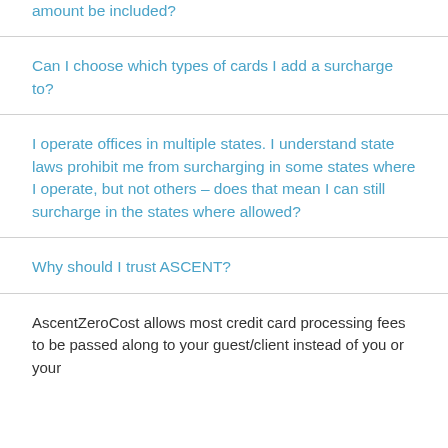amount be included?
Can I choose which types of cards I add a surcharge to?
I operate offices in multiple states. I understand state laws prohibit me from surcharging in some states where I operate, but not others – does that mean I can still surcharge in the states where allowed?
Why should I trust ASCENT?
AscentZeroCost allows most credit card processing fees to be passed along to your guest/client instead of you or your